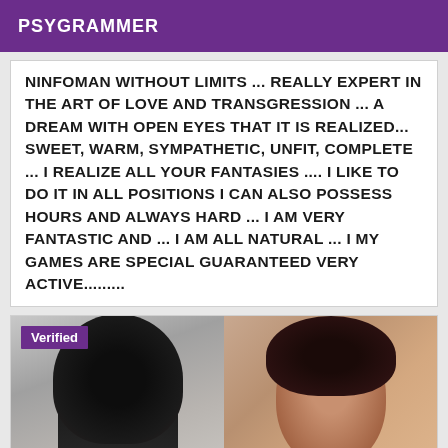PSYGRAMMER
NINFOMAN WITHOUT LIMITS ... REALLY EXPERT IN THE ART OF LOVE AND TRANSGRESSION ... A DREAM WITH OPEN EYES THAT IT IS REALIZED... SWEET, WARM, SYMPATHETIC, UNFIT, COMPLETE ... I REALIZE ALL YOUR FANTASIES .... I LIKE TO DO IT IN ALL POSITIONS I CAN ALSO POSSESS HOURS AND ALWAYS HARD ... I AM VERY FANTASTIC AND ... I AM ALL NATURAL ... I MY GAMES ARE SPECIAL GUARANTEED VERY ACTIVE.........
[Figure (photo): Two photos side by side: left shows a woman with long dark hair from behind wearing a teal top; right shows a woman with dark brown hair facing the camera. A purple 'Verified' badge is overlaid on the top-left.]